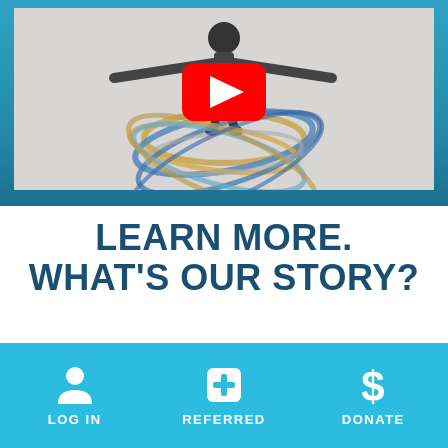[Figure (screenshot): YouTube video thumbnail showing a woman with arms outstretched surrounded by colorful hula hoops/rings in blue and gold colors, with a YouTube play button overlay. Background is light gray.]
LEARN MORE. WHAT'S OUR STORY?
[Figure (infographic): Bottom navigation bar with three items: LOG IN (person icon), REFERRED (plus/medical icon), DONATE (dollar sign icon), on a light blue background.]